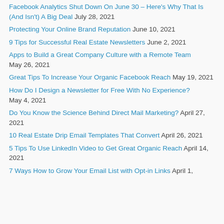Facebook Analytics Shut Down On June 30 – Here's Why That Is (And Isn't) A Big Deal July 28, 2021
Protecting Your Online Brand Reputation June 10, 2021
9 Tips for Successful Real Estate Newsletters June 2, 2021
Apps to Build a Great Company Culture with a Remote Team May 26, 2021
Great Tips To Increase Your Organic Facebook Reach May 19, 2021
How Do I Design a Newsletter for Free With No Experience? May 4, 2021
Do You Know the Science Behind Direct Mail Marketing? April 27, 2021
10 Real Estate Drip Email Templates That Convert April 26, 2021
5 Tips To Use LinkedIn Video to Get Great Organic Reach April 14, 2021
7 Ways How to Grow Your Email List with Opt-in Links April 1,